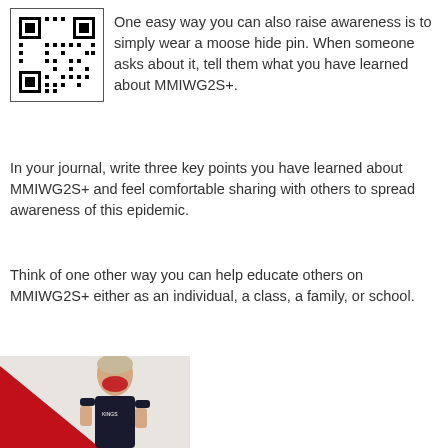[Figure (other): QR code image for scanning to learn about MMIWG2S+]
One easy way you can also raise awareness is to simply wear a moose hide pin. When someone asks about it, tell them what you have learned about MMIWG2S+.
In your journal, write three key points you have learned about MMIWG2S+ and feel comfortable sharing with others to spread awareness of this epidemic.
Think of one other way you can help educate others on MMIWG2S+ either as an individual, a class, a family, or school.
[Figure (photo): A female athlete wearing a Kings track and field jersey with a red handprint painted over her mouth, symbolizing MMIWG2S+ awareness, with a red geometric background shape.]
When mothers, grandmothers, and female caretakers vanish, children are left without the